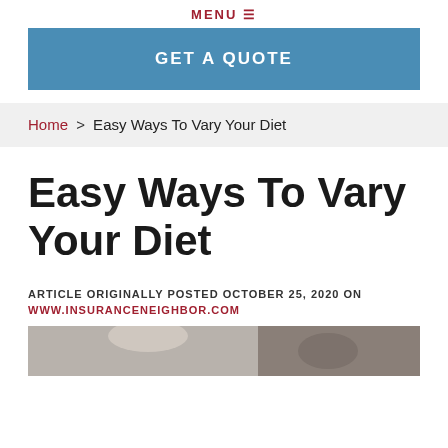MENU ≡
GET A QUOTE
Home > Easy Ways To Vary Your Diet
Easy Ways To Vary Your Diet
ARTICLE ORIGINALLY POSTED OCTOBER 25, 2020 ON
WWW.INSURANCENEIGHBOR.COM
[Figure (photo): Photo of a person at a table, partially visible at bottom of page]